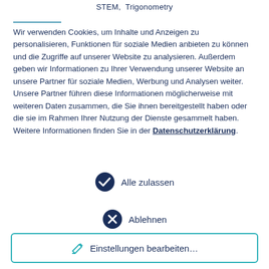STEM,  Trigonometry
Wir verwenden Cookies, um Inhalte und Anzeigen zu personalisieren, Funktionen für soziale Medien anbieten zu können und die Zugriffe auf unserer Website zu analysieren. Außerdem geben wir Informationen zu Ihrer Verwendung unserer Website an unsere Partner für soziale Medien, Werbung und Analysen weiter. Unsere Partner führen diese Informationen möglicherweise mit weiteren Daten zusammen, die Sie ihnen bereitgestellt haben oder die sie im Rahmen Ihrer Nutzung der Dienste gesammelt haben. Weitere Informationen finden Sie in der Datenschutzerklärung.
Alle zulassen
Ablehnen
Einstellungen bearbeiten...